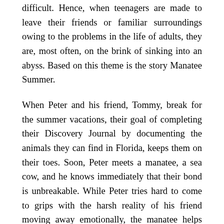difficult. Hence, when teenagers are made to leave their friends or familiar surroundings owing to the problems in the life of adults, they are, most often, on the brink of sinking into an abyss. Based on this theme is the story Manatee Summer.
When Peter and his friend, Tommy, break for the summer vacations, their goal of completing their Discovery Journal by documenting the animals they can find in Florida, keeps them on their toes. Soon, Peter meets a manatee, a sea cow, and he knows immediately that their bond is unbreakable. While Peter tries hard to come to grips with the harsh reality of his friend moving away emotionally, the manatee helps keep his spirits afloat. When Peter's grandfather is moved to a rehabilitation centre because of his dementia and Peter's father is unwell as well, he is faced with a choice of mending the broken bridges.